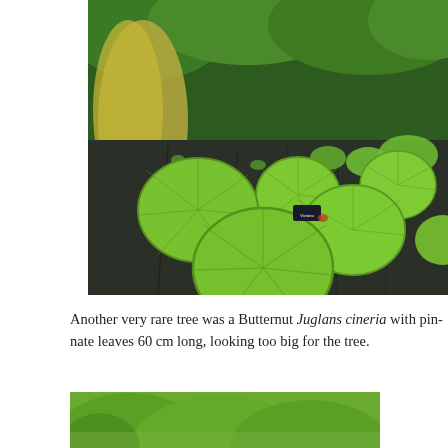[Figure (photo): Photograph of a lily pond with large round Victoria water lily pads floating on dark water, surrounded by lush green vegetation and ornamental grasses in the background.]
Another very rare tree was a Butternut Juglans cineria with pinnate leaves 60 cm long, looking too big for the tree.
[Figure (photo): Partial photograph of a large leafy tree with dense green foliage against a light sky.]